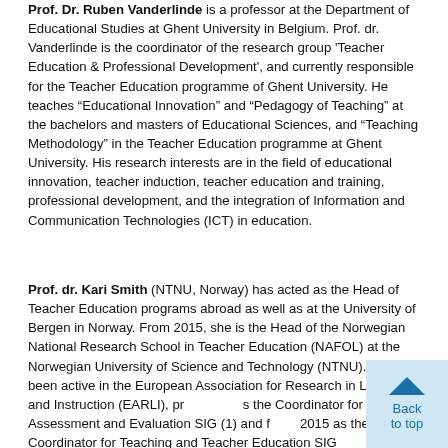Prof. Dr. Ruben Vanderlinde is a professor at the Department of Educational Studies at Ghent University in Belgium. Prof. dr. Vanderlinde is the coordinator of the research group 'Teacher Education & Professional Development', and currently responsible for the Teacher Education programme of Ghent University. He teaches "Educational Innovation" and "Pedagogy of Teaching" at the bachelors and masters of Educational Sciences, and "Teaching Methodology" in the Teacher Education programme at Ghent University. His research interests are in the field of educational innovation, teacher induction, teacher education and training, professional development, and the integration of Information and Communication Technologies (ICT) in education.
Prof. dr. Kari Smith (NTNU, Norway) has acted as the Head of Teacher Education programs abroad as well as at the University of Bergen in Norway. From 2015, she is the Head of the Norwegian National Research School in Teacher Education (NAFOL) at the Norwegian University of Science and Technology (NTNU). She has been active in the European Association for Research in Learning and Instruction (EARLI), previously as the Coordinator for the Assessment and Evaluation SIG (1) and from 2015 as the Coordinator for Teaching and Teacher Education SIG. She is a member of the American Educational Research Association (A...) International Study Association for Teachers and Teaching (ISAT), the International Forum For Teacher Education Research (IFTE)...